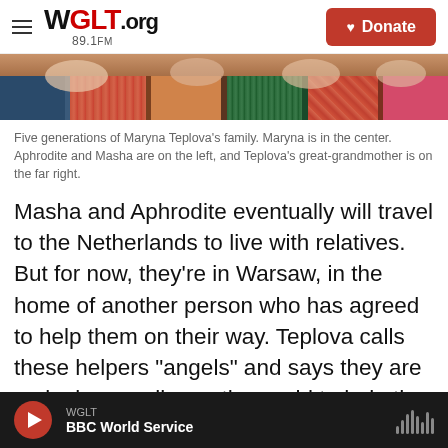WGLT.org 89.1FM | Donate
[Figure (photo): Bottom portion of a photo showing five generations of Maryna Teplova's family, with colorful clothing visible.]
Five generations of Maryna Teplova's family. Maryna is in the center. Aphrodite and Masha are on the left, and Teplova's great-grandmother is on the far right.
Masha and Aphrodite eventually will travel to the Netherlands to live with relatives. But for now, they're in Warsaw, in the home of another person who has agreed to help them on their way. Teplova calls these helpers “angels” and says they are springing up all over the world to help the people of Ukraine.
WGLT | BBC World Service